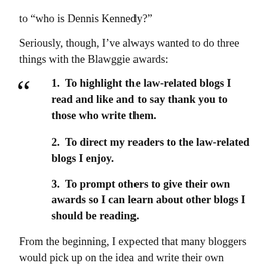to “who is Dennis Kennedy?”
Seriously, though, I’ve always wanted to do three things with the Blawggie awards:
1. To highlight the law-related blogs I read and like and to say thank you to those who write them.
2. To direct my readers to the law-related blogs I enjoy.
3. To prompt others to give their own awards so I can learn about other blogs I should be reading.
From the beginning, I expected that many bloggers would pick up on the idea and write their own awards posts. After all, there is no